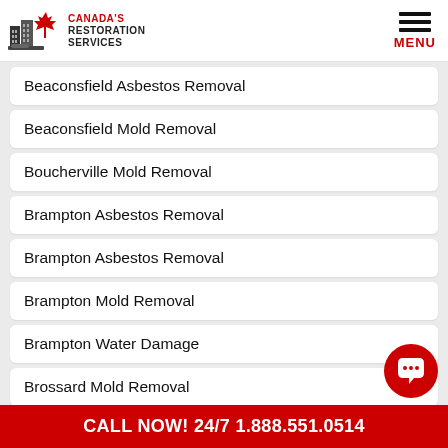Canada's Restoration Services — MENU
Beaconsfield Asbestos Removal
Beaconsfield Mold Removal
Boucherville Mold Removal
Brampton Asbestos Removal
Brampton Asbestos Removal
Brampton Mold Removal
Brampton Water Damage
Brossard Mold Removal
Burlington Asbestos Remvoal
CALL NOW! 24/7 1.888.551.0514